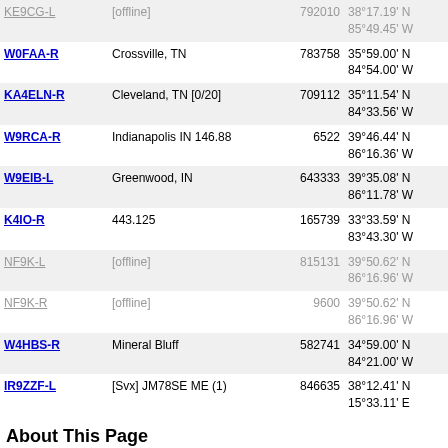| Callsign | Location | Node# | Coordinates | Grid |
| --- | --- | --- | --- | --- |
| KE9CG-L | [offline] | 792010 | 38°17.19' N 85°49.45' W | EM78cg |
| W0FAA-R | Crossville, TN | 783758 | 35°59.00' N 84°54.00' W | EM75nx |
| KA4ELN-R | Cleveland, TN [0/20] | 709112 | 35°11.54' N 84°33.56' W | EM75re |
| W9RCA-R | Indianapolis IN 146.88 | 6522 | 39°46.44' N 86°16.36' W | EM69us |
| W9EIB-L | Greenwood, IN | 643333 | 39°35.08' N 86°11.78' W | EM69vo |
| K4IO-R | 443.125 | 165739 | 33°33.59' N 83°43.30' W | EM83dn |
| NF9K-L | [offline] | 815131 | 39°50.62' N 86°16.96' W | EM69uu |
| NF9K-R | [offline] | 9600 | 39°50.62' N 86°16.96' W | EM69uu |
| W4HBS-R | Mineral Bluff | 582741 | 34°59.00' N 84°21.00' W | EM74tx |
| IR9ZZF-L | [Svx] JM78SE ME (1) | 846635 | 38°12.41' N 15°33.11' E | JM78se |
About This Page
This page is intended to help RF users find EchoLink simplex or repeater link...
The table above shows information collected during the past several minutes... shown are those which have entered location information on the RF Info tab...
Simplex links (-L) show the location, frequency, and antenna information of th...